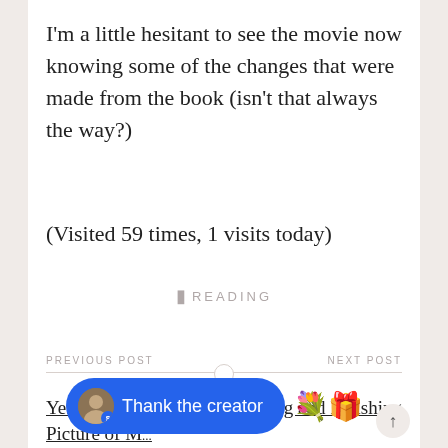I'm a little hesitant to see the movie now knowing some of the changes that were made from the book (isn't that always the way?)
(Visited 59 times, 1 visits today)
READING
PREVIOUS POST
NEXT POST
Yes, Another Cute Picture of M...
Starting and Finishing